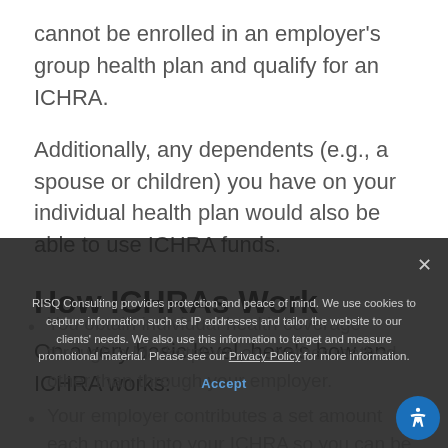cannot be enrolled in an employer's group health plan and qualify for an ICHRA.
Additionally, any dependents (e.g., a spouse or children) you have on your individual health plan would also be able to use ICHRA funds.
How ICHRAs Work
On a very basic level, here's how an ICHRA works:
You obtain individual health coverage through a Marketplace or another method other than through your employer.
Your employer contributes a set amount each month into your ICHRA so you can be...
RISQ Consulting provides protection and peace of mind. We use cookies to capture information such as IP addresses and tailor the website to our clients' needs. We also use this information to target and measure promotional material. Please see our Privacy Policy for more information.